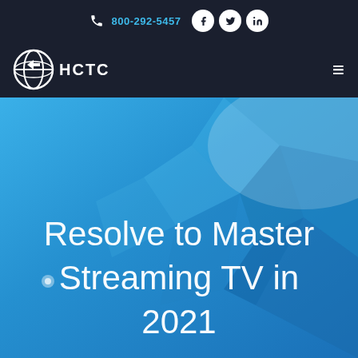800-292-5457
[Figure (logo): HCTC company logo — globe icon with HCTC text in white on dark navy navigation bar]
Resolve to Master Streaming TV in 2021